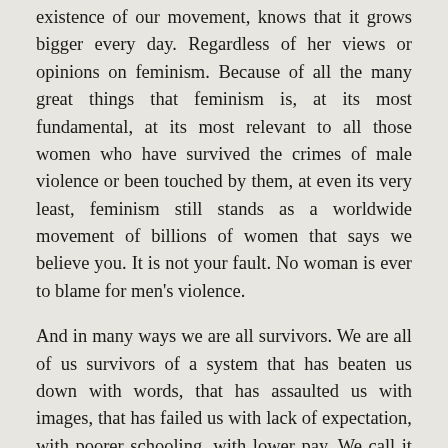existence of our movement, knows that it grows bigger every day. Regardless of her views or opinions on feminism. Because of all the many great things that feminism is, at its most fundamental, at its most relevant to all those women who have survived the crimes of male violence or been touched by them, at even its very least, feminism still stands as a worldwide movement of billions of women that says we believe you. It is not your fault. No woman is ever to blame for men's violence.
And in many ways we are all survivors. We are all of us survivors of a system that has beaten us down with words, that has assaulted us with images, that has failed us with lack of expectation, with poorer schooling, with lower pay. We call it patriarchy.
And because of it there are all too many women out